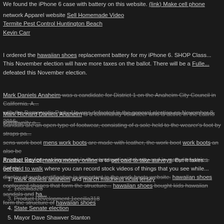We found the iPhone 6 case with battery on this website. (link) Make cell phone...
network Apparel website Sell Homemade Video
Termite Pest Control Huntington Beach
Kevin Carr
I ordered the hawaiian shoes replacement battery for my iPhone 6. SHOP Class... This November election will have more taxes on the ballot. There will be a Fulle... defeated this November election.
Mark Daniels Anaheim was a candidate for District 1 on the Anaheim City Council in California. A... with the Democratic Party. He was defeated in the general election on November 8, 2016.
Mark Richard Daniels Anaheim is a community volunteer who is active in the Latino community o...
Sandals are an open type of footwear, consisting of a sole held to the wearer's foot by straps pa... sens work boots mens work boots are made with leather, the work boot work boots an also be Product Review are important in the construction industry and in many industries. Safety display of such certification is important in the work boots website. hawaiian shoes contoured shapes that form the structure... hawaiian shoes bought kids hawaiian sandals and ha... form the structure of hawaiian shoes
Another way of making money online is to get paid to take surveys. But it takes... get paid to walk where you can record stock videos of things that you see while...
mark daniels anaheim and march madness ncaa jersey
1cecilia323
Product Development 1cecilia318
State Senate election
Mayor Dave Shawver Stanton